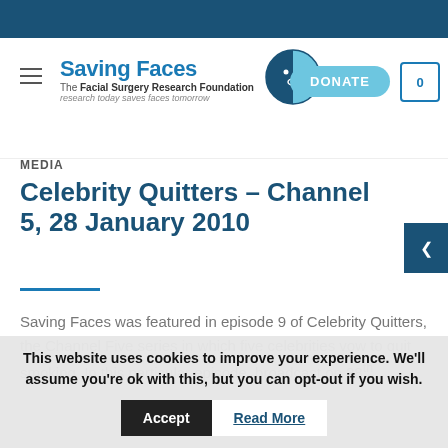[Figure (logo): Saving Faces – The Facial Surgery Research Foundation logo with face icon]
MEDIA
Celebrity Quitters – Channel 5, 28 January 2010
Saving Faces was featured in episode 9 of Celebrity Quitters, the Channel Five series in which five celebrities vow to quit smoking. In this particular episode, broadcast on 28th
This website uses cookies to improve your experience. We'll assume you're ok with this, but you can opt-out if you wish.